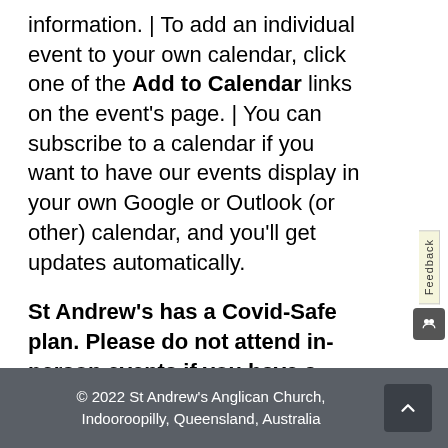information. | To add an individual event to your own calendar, click one of the Add to Calendar links on the event's page. | You can subscribe to a calendar if you want to have our events display in your own Google or Outlook (or other) calendar, and you'll get updates automatically.
St Andrew's has a Covid-Safe plan. Please do not attend in-person events if you have a fever, cough, sore throat, fatigue or shortness of breath.
© 2022 St Andrew's Anglican Church, Indooroopilly, Queensland, Australia